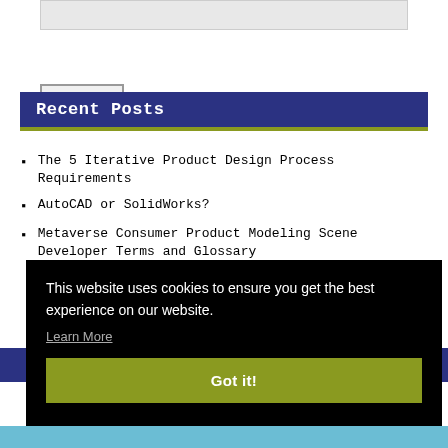[Figure (screenshot): Search input box at top of sidebar]
[Figure (screenshot): Search button below search box]
Recent Posts
The 5 Iterative Product Design Process Requirements
AutoCAD or SolidWorks?
Metaverse Consumer Product Modeling Scene Developer Terms and Glossary
This website uses cookies to ensure you get the best experience on our website.
Learn More
Got it!